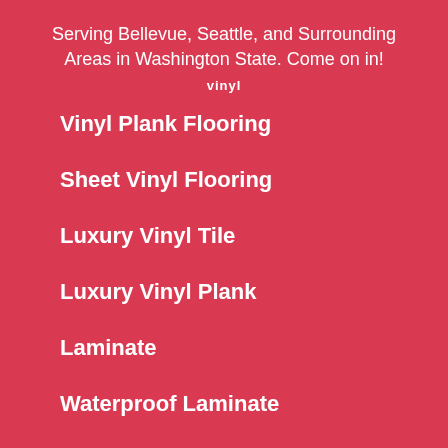Serving Bellevue, Seattle, and Surrounding Areas in Washington State. Come on in!
Vinyl
Vinyl Plank Flooring
Sheet Vinyl Flooring
Luxury Vinyl Tile
Luxury Vinyl Plank
Laminate
Waterproof Laminate